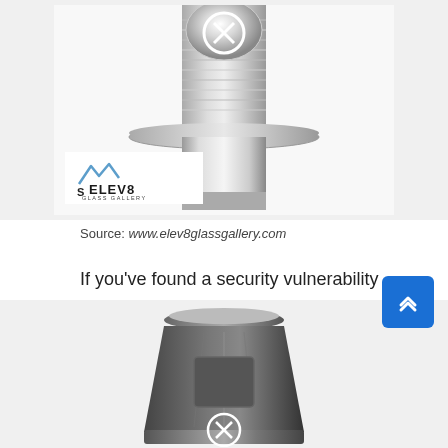[Figure (photo): Close-up photo of a shiny metallic vaporizer or glass connector piece with threaded top, shown from above. Has a circular X/close button overlay at top center. Elev8 Glass Gallery logo visible in lower left of image.]
Source: www.elev8glassgallery.com
If you’ve found a security vulnerability on crazyscartz.com we encourage you to message us immediately. Facebook (0) disqus () recent posts.
[Figure (photo): Close-up photo of a metallic vaporizer base or adapter piece, dark silver/chrome finish, with a circular X/close button overlay at bottom center.]